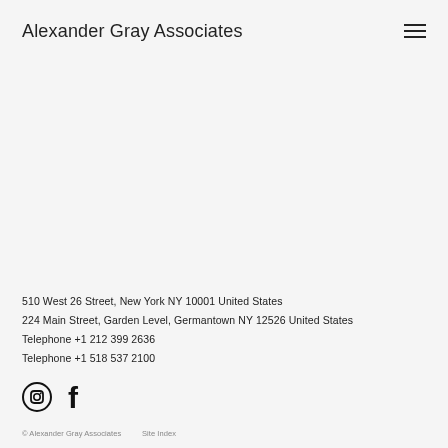Alexander Gray Associates
not only to explore aesthetic elements of line, color, shape, and texture, but also to embrace scale's metaphoric potential to evoke expansive—"epic"—ideas and subjects, including time, history, nature, the body, and existential concerns of the self.
510 West 26 Street, New York NY 10001 United States
224 Main Street, Garden Level, Germantown NY 12526 United States
Telephone +1 212 399 2636
Telephone +1 518 537 2100
[Figure (illustration): Instagram and Facebook social media icons]
© Alexander Gray Associates   Site Index